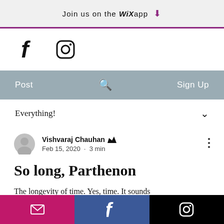Join us on the WiX app
[Figure (logo): Facebook and Instagram social media icons]
Post   [search icon]   Sign Up
Everything!
Vishvaraj Chauhan [crown] Feb 15, 2020 · 3 min
So long, Parthenon
The longevity of time. Yes, time. It sounds
[email icon] [Facebook icon] [Instagram icon]